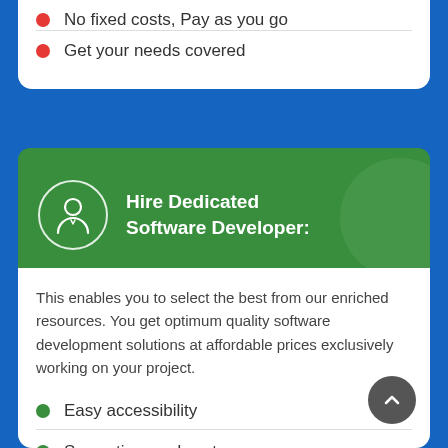No fixed costs, Pay as you go
Get your needs covered
Hire Dedicated Software Developer:
This enables you to select the best from our enriched resources. You get optimum quality software development solutions at affordable prices exclusively working on your project.
Easy accessibility
Saves time and cost